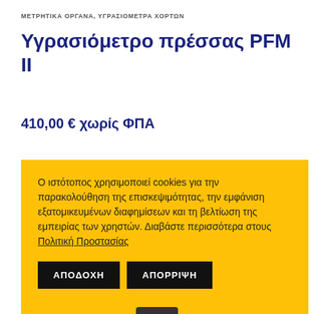ΜΕΤΡΗΤΙΚΑ ΟΡΓΑΝΑ, ΥΓΡΑΣΙΟΜΕΤΡΑ ΧΟΡΤΩΝ
Υγρασιόμετρο πρέσσας PFM II
410,00 € χωρίς ΦΠΑ
Ο ιστότοπος χρησιμοποιεί cookies για την παρακολούθηση της επισκεψιμότητας, την εμφάνιση εξατομικευμένων διαφημίσεων και τη βελτίωση της εμπειρίας των χρηστών. Διαβάστε περισσότερα στους Πολιτική Προστασίας
ΑΠΟΔΟΧΗ
ΑΠΟΡΡΙΨΗ